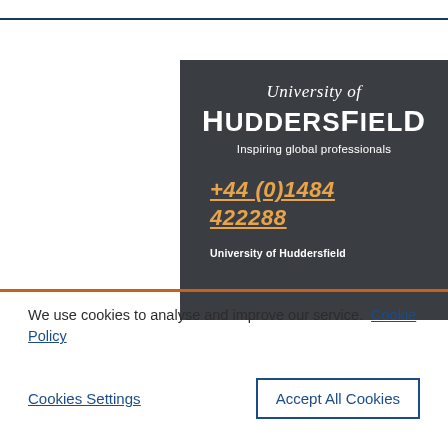[Figure (logo): University of Huddersfield logo on dark grey background with phone number +44 (0)1484 422288 and tagline 'Inspiring global professionals']
We use cookies to analyse and improve our service. Cookie Policy
Cookies Settings
Accept All Cookies